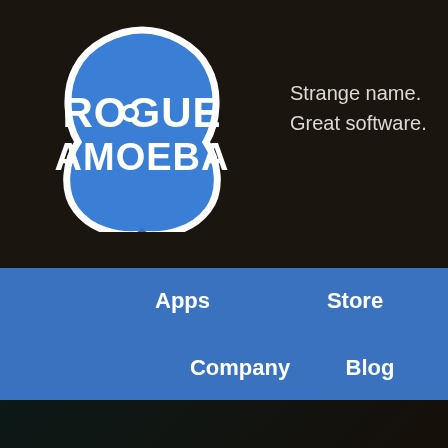[Figure (logo): Rogue Amoeba logo: blue star-like shape with white border containing white text ROGUE AMOEBA]
Strange name.
Great software.
Apps
Store
Support
Company
Blog